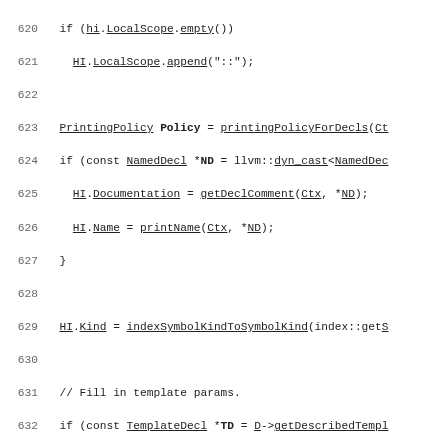[Figure (screenshot): Source code listing showing C++ code lines 620-649, with line numbers on the left and code with underlined identifiers on the right. Uses monospace font. Code involves HI.LocalScope, PrintingPolicy, NamedDecl, TemplateDecl, FunctionDecl, and related LLVM/Clang API calls.]